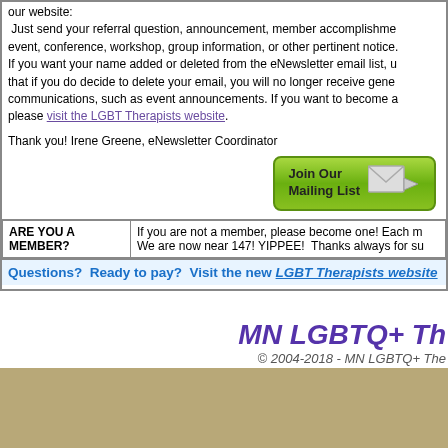our website: Just send your referral question, announcement, member accomplishment, event, conference, workshop, group information, or other pertinent notice. If you want your name added or deleted from the eNewsletter email list, u... that if you do decide to delete your email, you will no longer receive gene... communications, such as event announcements. If you want to become a... please visit the LGBT Therapists website.
Thank you! Irene Greene, eNewsletter Coordinator
[Figure (other): Green 'Join Our Mailing List' button with envelope and arrow icon]
| ARE YOU A MEMBER? | If you are not a member, please become one! Each m... We are now near 147! YIPPEE! Thanks always for su... |
Questions? Ready to pay? Visit the new LGBT Therapists website
MN LGBTQ+ Th
© 2004-2018 - MN LGBTQ+ The